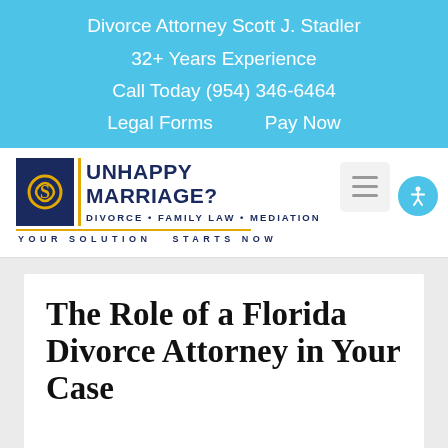Divorce Attorney Scott J. Stadler
32+ Years Experience
Call Today (954) 346-6464
Legal Forms   Pay Now
[Figure (logo): Unhappy Marriage? Divorce • Family Law • Mediation logo with navy blue icon box containing stylized S, gold vertical bar, navy text, and tagline YOUR SOLUTION STARTS NOW]
The Role of a Florida Divorce Attorney in Your Case